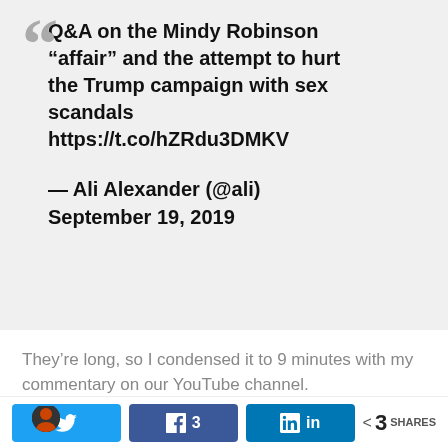Q&A on the Mindy Robinson “affair” and the attempt to hurt the Trump campaign with sex scandals https://t.co/hZRdu3DMKV
— Ali Alexander (@ali) September 19, 2019
They’re long, so I condensed it to 9 minutes with my commentary on our YouTube channel.
[Figure (screenshot): Partially visible video thumbnail with dark/black background, a person visible on left, and a blue button on the right.]